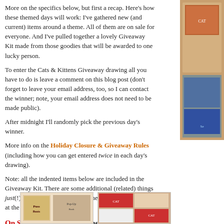More on the specifics below, but first a recap. Here's how these themed days will work: I've gathered new (and current) items around a theme. All of them are on sale for everyone. And I've pulled together a lovely Giveaway Kit made from those goodies that will be awarded to one lucky person.
To enter the Cats & Kittens Giveaway drawing all you have to do is leave a comment on this blog post (don't forget to leave your email address, too, so I can contact the winner; note, your email address does not need to be made public).
After midnight I'll randomly pick the previous day's winner.
More info on the Holiday Closure & Giveaway Rules (including how you can get entered twice in each day's drawing).
Note: all the indented items below are included in the Giveaway Kit. There are some additional (related) things just(!) put on sale that are not in the Giveaway Kit (down at the bottom of this page).
On Sale! (and included in the Giveaway Kit)
Note: I'm explaining the Giveaway in a slightly different fashion than the oth which are on sale) with a few highlights below.
[Figure (photo): Book cover image - Puss Boots children's book]
[Figure (photo): Collage of cat-themed images]